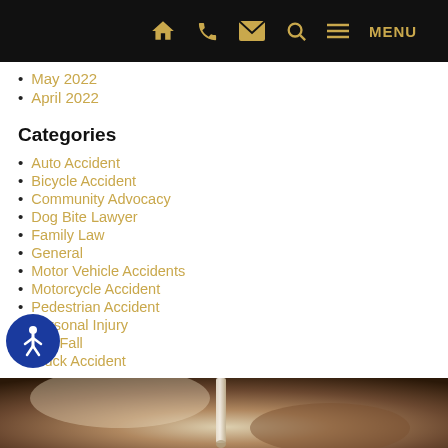Navigation bar with home, phone, email, search, and MENU icons
May 2022
April 2022
Categories
Auto Accident
Bicycle Accident
Community Advocacy
Dog Bite Lawyer
Family Law
General
Motor Vehicle Accidents
Motorcycle Accident
Pedestrian Accident
Personal Injury
Slip Fall
Truck Accident
[Figure (photo): Close-up photo of a pen on a desk, blurred bokeh background in warm brown tones]